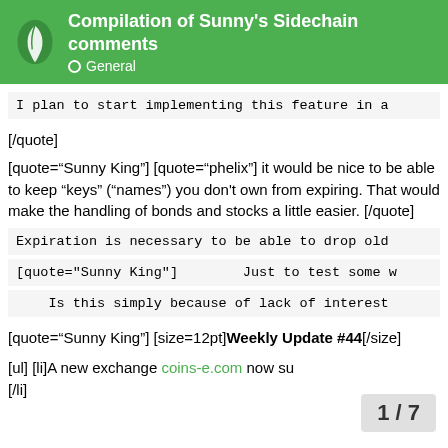Compilation of Sunny's Sidechain comments | General
I plan to start implementing this feature in a
[/quote]
[quote="Sunny King"] [quote="phelix"] it would be nice to be able to keep "keys" ("names") you don't own from expiring. That would make the handling of bonds and stocks a little easier. [/quote]
Expiration is necessary to be able to drop old
[quote="Sunny King"]        Just to test some w
Is this simply because of lack of interest
[quote="Sunny King"] [size=12pt]Weekly Update #44[/size]
[ul] [li]A new exchange coins-e.com now su [/li]
1 / 7